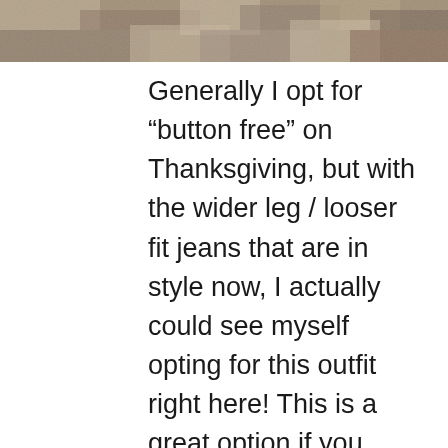[Figure (photo): Partial photograph showing a textured stone or gravel surface, cropped at top of page]
Generally I opt for “button free” on Thanksgiving, but with the wider leg / looser fit jeans that are in style now, I actually could see myself opting for this outfit right here! This is a great option if you want to look a *tiny bit* more dressy than leggings.